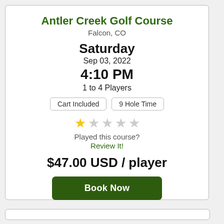Antler Creek Golf Course
Falcon, CO
Saturday
Sep 03, 2022
4:10 PM
1 to 4 Players
Cart Included
9 Hole Time
Played this course?
Review It!
$47.00 USD / player
Book Now